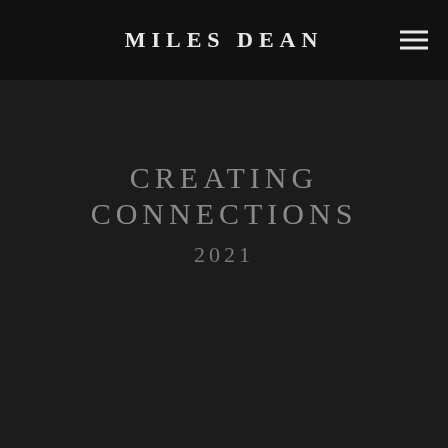MILES DEAN
CREATING CONNECTIONS
2021